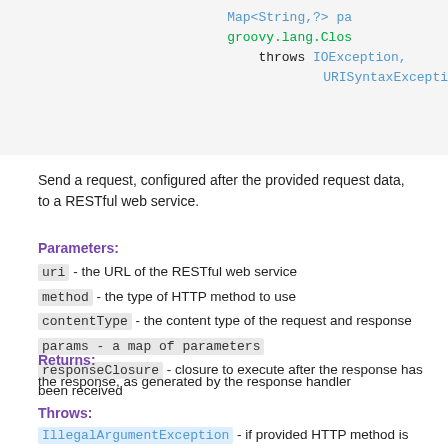[Figure (screenshot): Code snippet showing Map<String,?> params, groovy.lang.Closure parameter, throws IOException, URISyntaxException]
Send a request, configured after the provided request data, to a RESTful web service.
Parameters:
uri - the URL of the RESTful web service
method - the type of HTTP method to use
contentType - the content type of the request and response
params - a map of parameters
responseClosure - closure to execute after the response has been received
Returns:
the response, as generated by the response handler
Throws:
IllegalArgumentException - if provided HTTP method is unknown
IOException
URISyntaxException